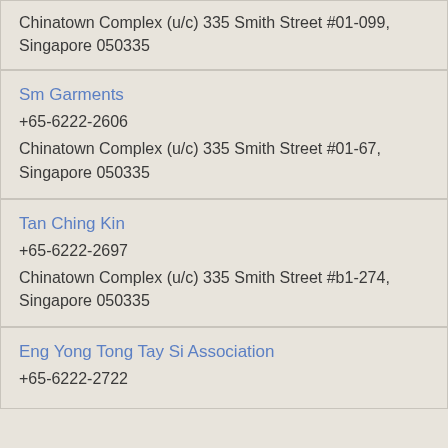Chinatown Complex (u/c) 335 Smith Street #01-099, Singapore 050335
Sm Garments
+65-6222-2606
Chinatown Complex (u/c) 335 Smith Street #01-67, Singapore 050335
Tan Ching Kin
+65-6222-2697
Chinatown Complex (u/c) 335 Smith Street #b1-274, Singapore 050335
Eng Yong Tong Tay Si Association
+65-6222-2722